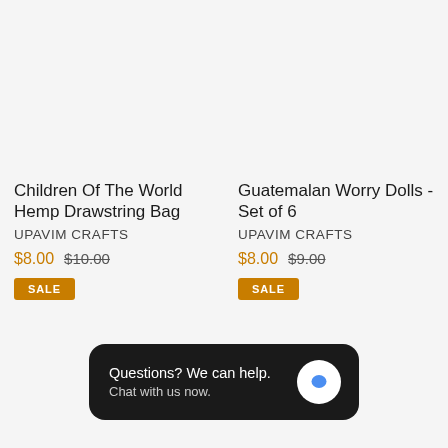[Figure (photo): Product image area for Children Of The World Hemp Drawstring Bag (light gray background, no image shown)]
Children Of The World Hemp Drawstring Bag
UPAVIM CRAFTS
$8.00  $10.00
SALE
[Figure (photo): Product image area for Guatemalan Worry Dolls - Set of 6 (light gray background, no image shown)]
Guatemalan Worry Dolls - Set of 6
UPAVIM CRAFTS
$8.00  $9.00
SALE
Questions? We can help. Chat with us now.